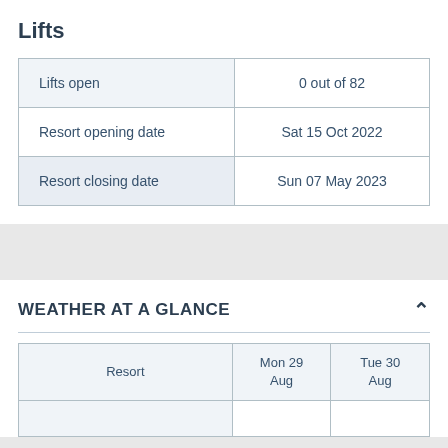Lifts
|  |  |
| --- | --- |
| Lifts open | 0 out of 82 |
| Resort opening date | Sat 15 Oct 2022 |
| Resort closing date | Sun 07 May 2023 |
WEATHER AT A GLANCE
| Resort | Mon 29 Aug | Tue 30 Aug |
| --- | --- | --- |
|  |  |  |